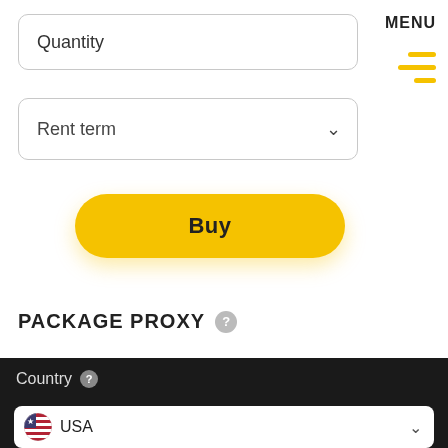Quantity
Rent term
Buy
PACKAGE PROXY
Country
USA